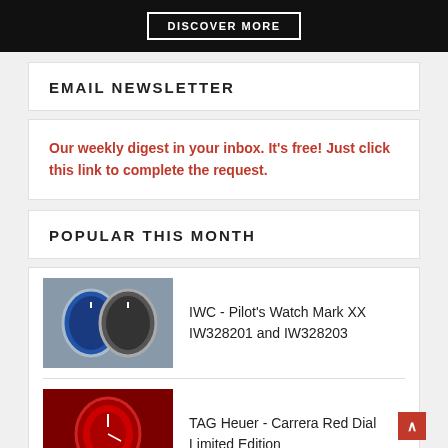[Figure (photo): Dark banner image with 'DISCOVER MORE' button in white bordered rectangle]
EMAIL NEWSLETTER
Our weekly digest in your inbox. It's free! Just click this link to complete the request.
POPULAR THIS MONTH
[Figure (photo): IWC Pilot's Watch Mark XX IW328201 and IW328203 - two watches side by side, blue and grey dials]
IWC - Pilot's Watch Mark XX IW328201 and IW328203
[Figure (photo): TAG Heuer Carrera Red Dial Limited Edition watch on red background]
TAG Heuer - Carrera Red Dial Limited Edition